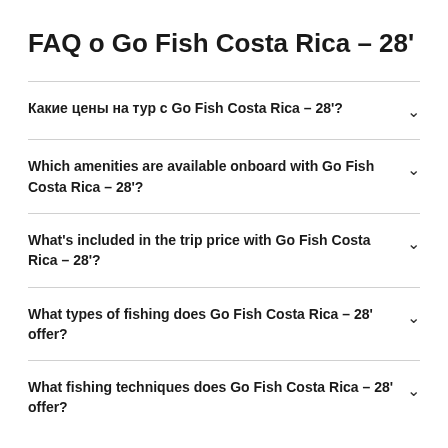FAQ о Go Fish Costa Rica – 28'
Какие цены на тур с Go Fish Costa Rica – 28'?
Which amenities are available onboard with Go Fish Costa Rica – 28'?
What's included in the trip price with Go Fish Costa Rica – 28'?
What types of fishing does Go Fish Costa Rica – 28' offer?
What fishing techniques does Go Fish Costa Rica – 28' offer?